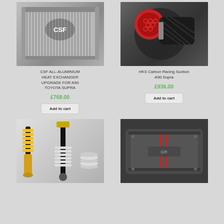[Figure (photo): CSF aluminium heat exchanger/radiator with CSF logo and checkered flags]
CSF ALL-ALUMINIUM HEAT EXCHANGER UPGRADE FOR A90 TOYOTA SUPRA
£768.00
Add to cart
[Figure (photo): HKS carbon racing suction intake with red filter on A90 Supra engine]
HKS Carbon Racing Suction A90 Supra
£936.00
Add to cart
[Figure (photo): Coilover suspension parts with yellow/gold shock absorbers and springs]
[Figure (photo): Toyota Supra engine bay showing engine cover with red stripes]